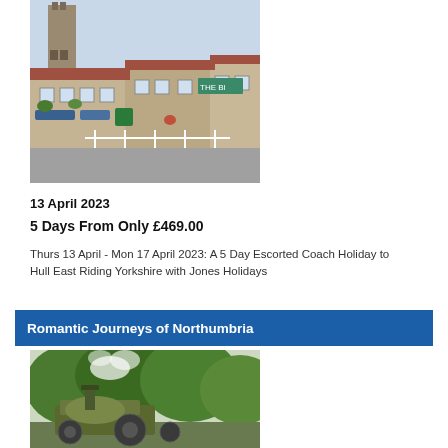[Figure (photo): Stone buildings along a village street in Yorkshire with a church tower visible in the background and blue shop awnings]
13 April 2023
5 Days From Only £469.00
Thurs 13 April - Mon 17 April 2023: A 5 Day Escorted Coach Holiday to Hull East Riding Yorkshire with Jones Holidays
Romantic Journeys of Northumbria
[Figure (photo): A vintage steam traction engine amid green trees with steam rising]